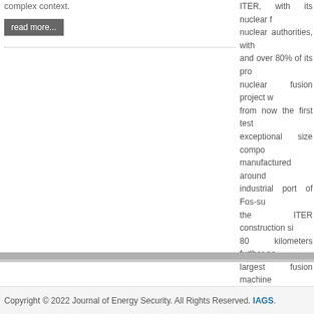complex context.
read more...
ITER, with its nuclear f... nuclear authorities, with... and over 80% of its pro... nuclear fusion project w... from now the first test... exceptional size compo... manufactured around... industrial port of Fos-su... the ITER construction si... 80 kilometers further no... largest fusion machine... visible and some 3000... the course of then... infrastructure that is ne... most ambitious scientifi... undertaken.
read more...
Copyright © 2022 Journal of Energy Security. All Rights Reserved. IAGS.